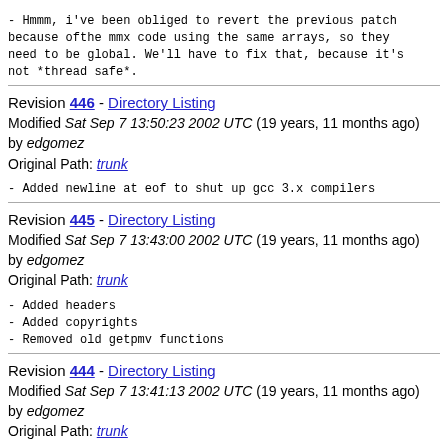- Hmmm, i've been obliged to revert the previous patch because ofthe mmx code using the same arrays, so they need to be global. We'll have to fix that, because it's not *thread safe*.
Revision 446 - Directory Listing
Modified Sat Sep 7 13:50:23 2002 UTC (19 years, 11 months ago)
by edgomez
Original Path: trunk
- Added newline at eof to shut up gcc 3.x compilers
Revision 445 - Directory Listing
Modified Sat Sep 7 13:43:00 2002 UTC (19 years, 11 months ago)
by edgomez
Original Path: trunk
- Added headers
- Added copyrights
- Removed old getpmv functions
Revision 444 - Directory Listing
Modified Sat Sep 7 13:41:13 2002 UTC (19 years, 11 months ago)
by edgomez
Original Path: trunk